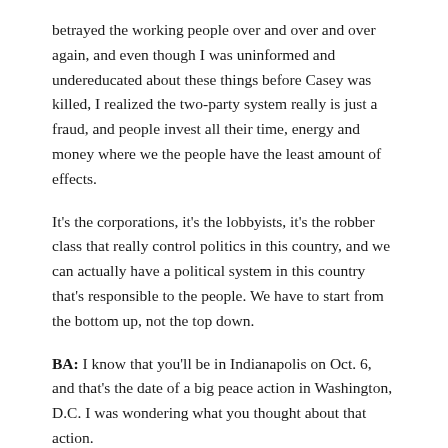betrayed the working people over and over and over again, and even though I was uninformed and undereducated about these things before Casey was killed, I realized the two-party system really is just a fraud, and people invest all their time, energy and money where we the people have the least amount of effects.
It's the corporations, it's the lobbyists, it's the robber class that really control politics in this country, and we can actually have a political system in this country that's responsible to the people. We have to start from the bottom up, not the top down.
BA: I know that you'll be in Indianapolis on Oct. 6, and that's the date of a big peace action in Washington, D.C. I was wondering what you thought about that action.